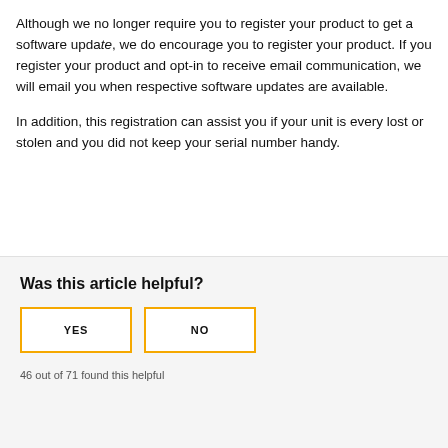Although we no longer require you to register your product to get a software update, we do encourage you to register your product.  If you register your product and opt-in to receive email communication, we will email you when respective software updates are available.
In addition, this registration can assist you if your unit is every lost or stolen and you did not keep your serial number handy.
Was this article helpful?
YES   NO
46 out of 71 found this helpful